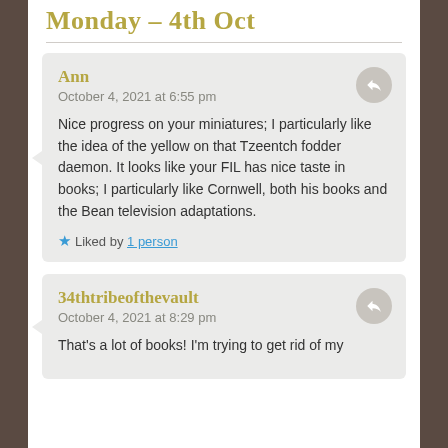Monday – 4th Oct
Ann
October 4, 2021 at 6:55 pm

Nice progress on your miniatures; I particularly like the idea of the yellow on that Tzeentch fodder daemon. It looks like your FIL has nice taste in books; I particularly like Cornwell, both his books and the Bean television adaptations.

★ Liked by 1 person
34thtribeofthevault
October 4, 2021 at 8:29 pm

That's a lot of books! I'm trying to get rid of my